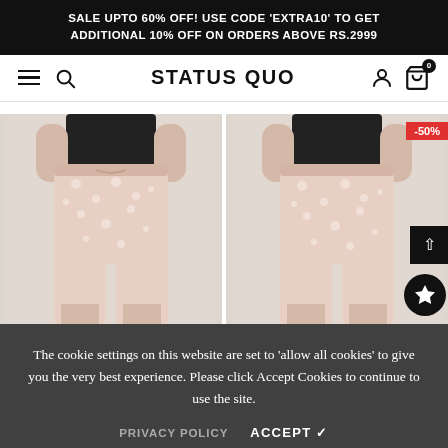SALE UPTO 60% OFF! USE CODE 'EXTRA10' TO GET ADDITIONAL 10% OFF ON ORDERS ABOVE RS.2999
STATUS QUO
[Figure (photo): Front view of a person wearing light pink/beige printed shorts with a black top, hands in pockets, drawstring waist visible]
[Figure (photo): Back view of the same light pink/beige printed shorts with -50% discount badge in top right corner]
The cookie settings on this website are set to 'allow all cookies' to give you the very best experience. Please click Accept Cookies to continue to use the site.
PRIVACY POLICY   ACCEPT ✓